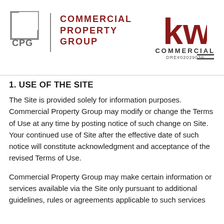[Figure (logo): CPG Commercial Property Group logo with gray box outline and red text on left; KW Commercial logo in red on right with DRE#02029039]
1. USE OF THE SITE
The Site is provided solely for information purposes. Commercial Property Group may modify or change the Terms of Use at any time by posting notice of such change on Site. Your continued use of Site after the effective date of such notice will constitute acknowledgment and acceptance of the revised Terms of Use.
Commercial Property Group may make certain information or services available via the Site only pursuant to additional guidelines, rules or agreements applicable to such services